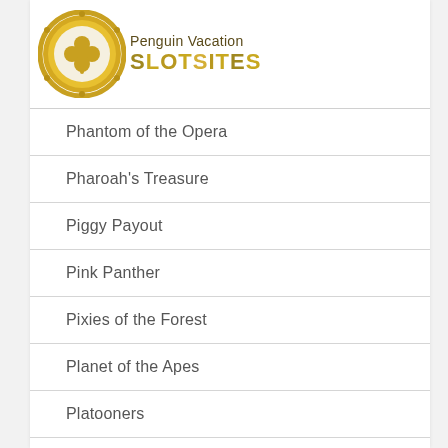Penguin Vacation SLOTSITES
Phantom of the Opera
Pharoah's Treasure
Piggy Payout
Pink Panther
Pixies of the Forest
Planet of the Apes
Platooners
Playboy
Poltava